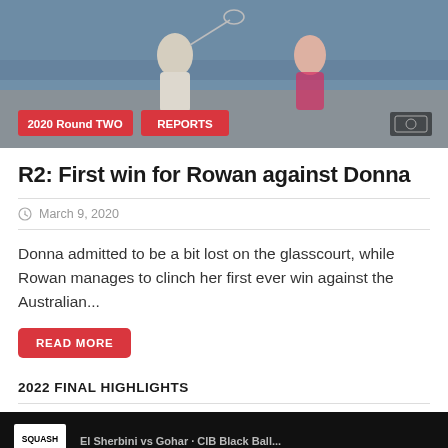[Figure (photo): Sports action photo showing squash players on a glasscourt, with red tag overlays reading '2020 Round TWO' and 'REPORTS']
R2: First win for Rowan against Donna
March 9, 2020
Donna admitted to be a bit lost on the glasscourt, while Rowan manages to clinch her first ever win against the Australian...
READ MORE
2022 FINAL HIGHLIGHTS
[Figure (screenshot): Partial bottom image showing a squash video/highlight reel with 'SQUASH' branding text visible]